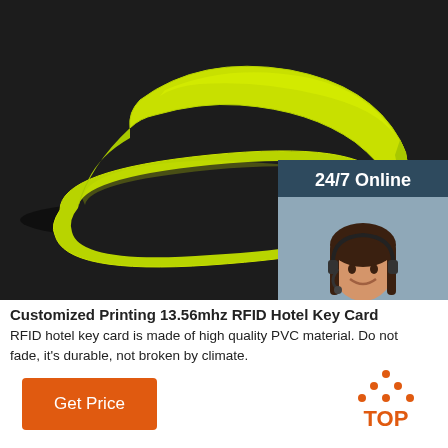[Figure (photo): A bright lime-green silicone RFID wristband on a dark textured background, with an overlaid customer service chat widget showing '24/7 Online', a smiling female agent with headset, 'Click here for free chat!' text, and an orange 'QUOTATION' button.]
Customized Printing 13.56mhz RFID Hotel Key Card
RFID hotel key card is made of high quality PVC material. Do not fade, it's durable, not broken by climate.
Get Price
[Figure (logo): Orange 'TOP' logo with triangular dot pattern above the text]